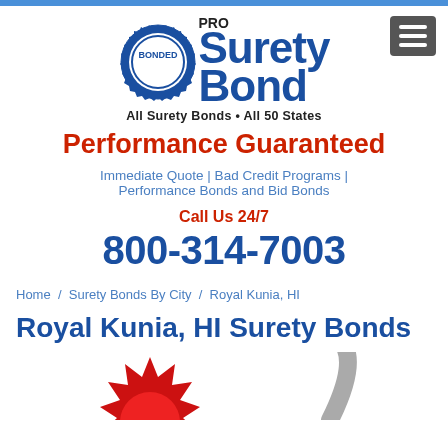[Figure (logo): Pro Surety Bond logo with blue bonded badge and text 'PRO Surety Bond - All Surety Bonds • All 50 States']
Performance Guaranteed
Immediate Quote | Bad Credit Programs | Performance Bonds and Bid Bonds
Call Us 24/7
800-314-7003
Home / Surety Bonds By City / Royal Kunia, HI
Royal Kunia, HI Surety Bonds
[Figure (illustration): Partial view of red starburst/seal shape and gray curved element at the bottom of the page]